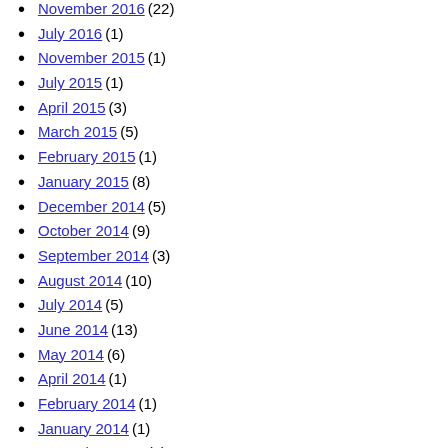November 2016 (22)
July 2016 (1)
November 2015 (1)
July 2015 (1)
April 2015 (3)
March 2015 (5)
February 2015 (1)
January 2015 (8)
December 2014 (5)
October 2014 (9)
September 2014 (3)
August 2014 (10)
July 2014 (5)
June 2014 (13)
May 2014 (6)
April 2014 (1)
February 2014 (1)
January 2014 (1)
November 2013 (1)
September 2013 (1)
July 2013 (4)
June 2013 (3)
May 2013 (4)
April 2013 (1)
March 2013 (2)